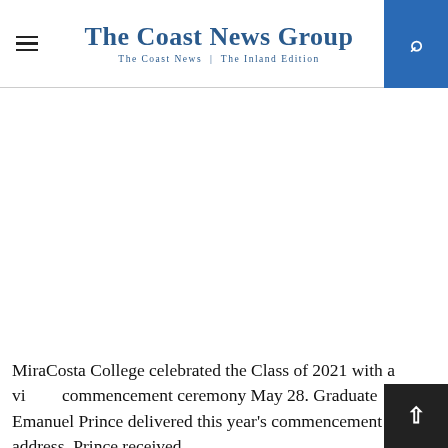The Coast News Group — The Coast News | The Inland Edition
MiraCosta College celebrated the Class of 2021 with a virtual commencement ceremony May 28. Graduate Emanuel Prince delivered this year's commencement address. Prince received